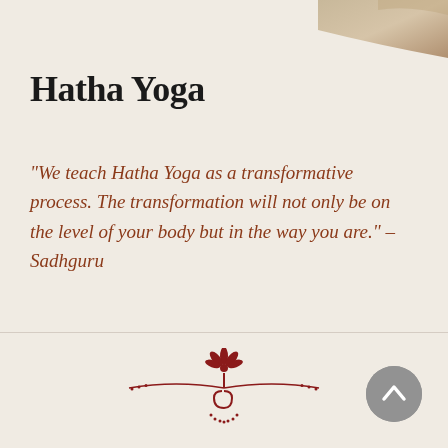[Figure (photo): Partial photo of yoga/nature scene in top-right corner]
Hatha Yoga
"We teach Hatha Yoga as a transformative process. The transformation will not only be on the level of your body but in the way you are." - Sadhguru
[Figure (logo): Isha Foundation / Hatha Yoga decorative logo with lotus flower, spiral and curved lines in dark red]
[Figure (other): Gray circular back/up navigation button with chevron icon]